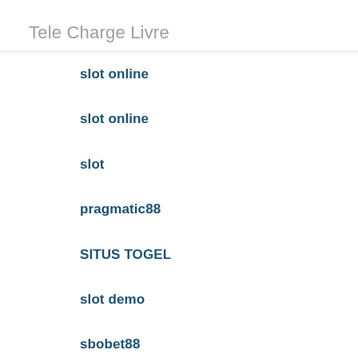Tele Charge Livre
slot online
slot online
slot
pragmatic88
SITUS TOGEL
slot demo
sbobet88